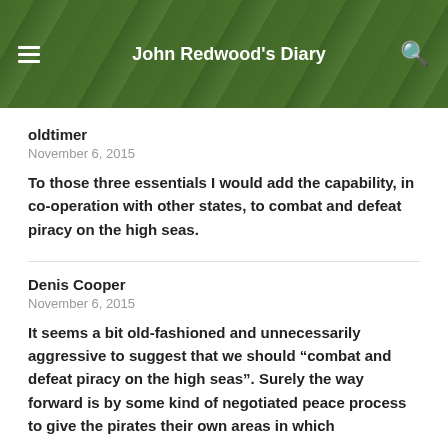John Redwood's Diary
oldtimer
November 6, 2015
To those three essentials I would add the capability, in co-operation with other states, to combat and defeat piracy on the high seas.
Denis Cooper
November 6, 2015
It seems a bit old-fashioned and unnecessarily aggressive to suggest that we should “combat and defeat piracy on the high seas”. Surely the way forward is by some kind of negotiated peace process to give the pirates their own areas in which